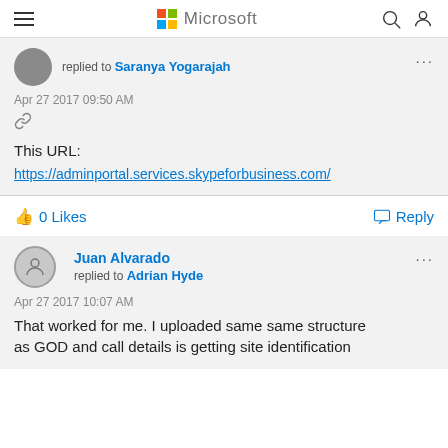Microsoft
replied to Saranya Yogarajah
Apr 27 2017 09:50 AM
This URL:
https://adminportal.services.skypeforbusiness.com/
0 Likes
Reply
Juan Alvarado replied to Adrian Hyde
Apr 27 2017 10:07 AM
That worked for me. I uploaded same same structure as GOD and call details is getting site identification